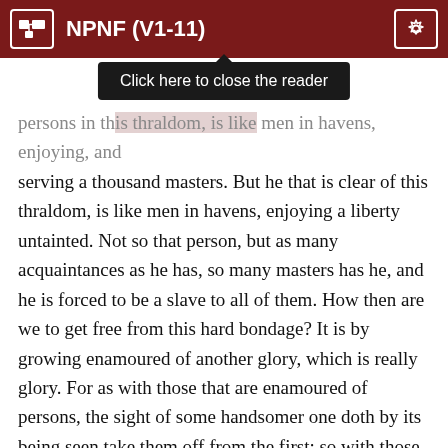NPNF (V1-11)
[Figure (screenshot): Tooltip overlay reading 'Click here to close the reader']
persons in this thraldom, is like men in havens, enjoying, and serving a thousand masters. But he that is clear of this thraldom, is like men in havens, enjoying a liberty untainted. Not so that person, but as many acquaintances as he has, so many masters has he, and he is forced to be a slave to all of them. How then are we to get free from this hard bondage? It is by growing enamoured of another glory, which is really glory. For as with those that are enamoured of persons, the sight of some handsomer one doth by its being seen take them off from the first: so with those that court the glory which cometh from us men, the glory from heaven, if it gleameth on